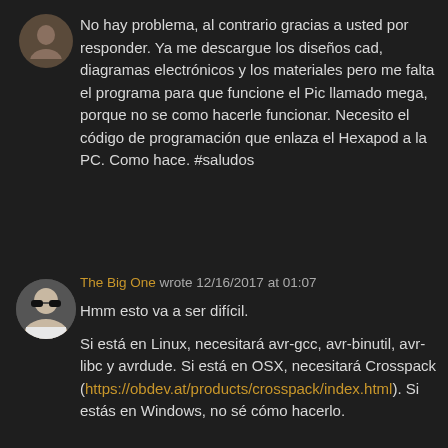No hay problema, al contrario gracias a usted por responder. Ya me descargue los diseños cad, diagramas electrónicos y los materiales pero me falta el programa para que funcione el Pic llamado mega, porque no se como hacerle funcionar. Necesito el código de programación que enlaza el Hexapod a la PC. Como hace. #saludos
The Big One wrote 12/16/2017 at 01:07
Hmm esto va a ser difícil.

Si está en Linux, necesitará avr-gcc, avr-binutil, avr-libc y avrdude. Si está en OSX, necesitará Crosspack (https://obdev.at/products/crosspack/index.html). Si estás en Windows, no sé cómo hacerlo.